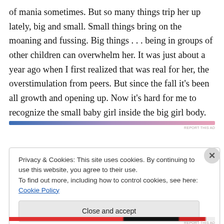of mania sometimes. But so many things trip her up lately, big and small. Small things bring on the moaning and fussing. Big things . . . being in groups of other children can overwhelm her. It was just about a year ago when I first realized that was real for her, the overstimulation from peers. But since the fall it's been all growth and opening up. Now it's hard for me to recognize the small baby girl inside the big girl body.
[Figure (infographic): Horizontal gradient bar from blue on the left to pink on the right, with 'REPORT THIS AD' text in small print below right]
Privacy & Cookies: This site uses cookies. By continuing to use this website, you agree to their use.
To find out more, including how to control cookies, see here: Cookie Policy
Close and accept
[Figure (infographic): Horizontal bar at bottom with red, black, and dark red segments. 'REPORT THIS AD' text.]